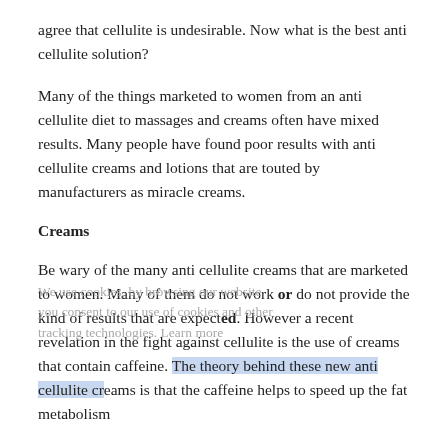agree that cellulite is undesirable. Now what is the best anti cellulite solution?
Many of the things marketed to women from an anti cellulite diet to massages and creams often have mixed results. Many people have found poor results with anti cellulite creams and lotions that are touted by manufacturers as miracle creams.
Creams
Be wary of the many anti cellulite creams that are marketed to women. Many of them do not work or do not provide the kind of results that are expected. However a recent revelation in the fight against cellulite is the use of creams that contain caffeine. The theory behind these new anti cellulite creams is that the caffeine helps to speed up the fat metabolism